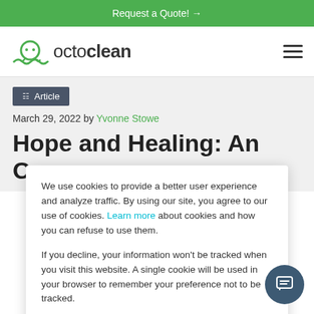Request a Quote! →
[Figure (logo): Octoclean logo with octopus icon and text 'octoclean']
Article
March 29, 2022 by Yvonne Stowe
Hope and Healing: An Open
We use cookies to provide a better user experience and analyze traffic. By using our site, you agree to our use of cookies. Learn more about cookies and how you can refuse to use them.

If you decline, your information won't be tracked when you visit this website. A single cookie will be used in your browser to remember your preference not to be tracked.
Accept
Decline